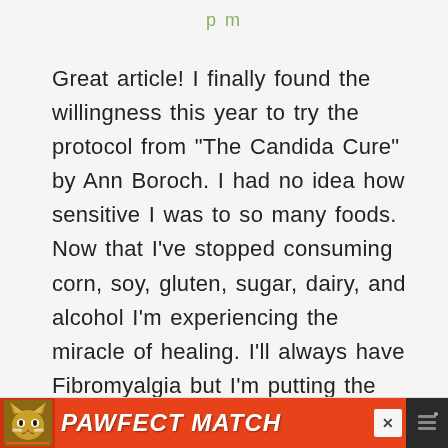pm
Great article! I finally found the willingness this year to try the protocol from “The Candida Cure” by Ann Boroch. I had no idea how sensitive I was to so many foods. Now that I’ve stopped consuming corn, soy, gluten, sugar, dairy, and alcohol I’m experiencing the miracle of healing. I’ll always have Fibromyalgia but I’m putting the symptoms into remission and as long as I keep my diet clean of
[Figure (infographic): Orange advertisement banner for PAWFECT MATCH app showing a cat photo on the left and bold italic white text on orange background, with an X close button and dark icon panel on the right.]